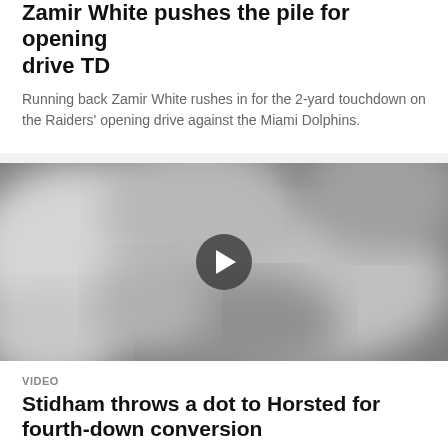Zamir White pushes the pile for opening drive TD
Running back Zamir White rushes in for the 2-yard touchdown on the Raiders' opening drive against the Miami Dolphins.
[Figure (photo): Blurred black-and-white video thumbnail showing football players with a play button overlay in the center]
VIDEO
Stidham throws a dot to Horsted for fourth-down conversion
Quarterback Jarrett Stidham finds tight end Jesper Horsted for